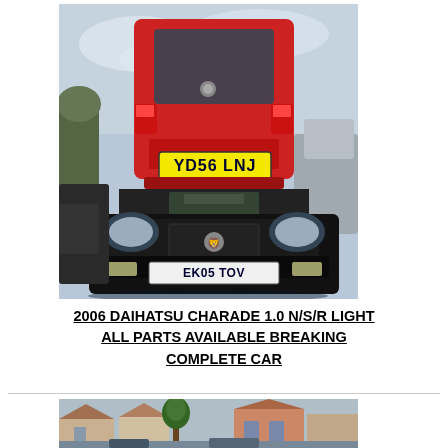[Figure (photo): Photo of a scrapyard with a red Daihatsu Charade (plate YD56 LNJ) sitting on top of a black Peugeot 206 (plate EK05 TOV), with other junked cars visible in the background.]
2006 DAIHATSU CHARADE 1.0 N/S/R LIGHT ALL PARTS AVAILABLE BREAKING COMPLETE CAR
[Figure (photo): Partial photo of a residential street or yard area, showing houses, trees, and parked vehicles.]